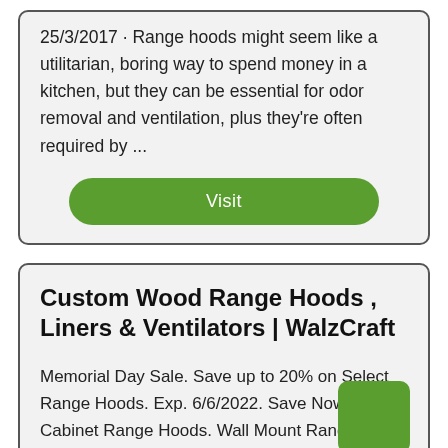25/3/2017 · Range hoods might seem like a utilitarian, boring way to spend money in a kitchen, but they can be essential for odor removal and ventilation, plus they're often required by ...
Visit
Custom Wood Range Hoods , Liners & Ventilators | WalzCraft
Memorial Day Sale. Save up to 20% on Select Range Hoods. Exp. 6/6/2022. Save Now. Under Cabinet Range Hoods. Wall Mount Range Hoods. Island Range Hoods. Range Hood ...